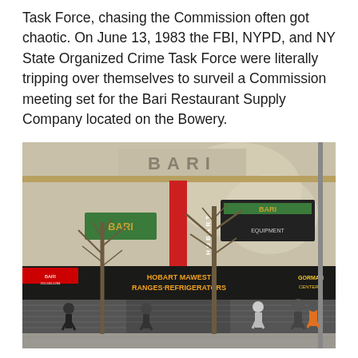Task Force, chasing the Commission often got chaotic. On June 13, 1983 the FBI, NYPD, and NY State Organized Crime Task Force were literally tripping over themselves to surveil a Commission meeting set for the Bari Restaurant Supply Company located on the Bowery.
[Figure (photo): Street-level photograph of the Bari Restaurant Supply Company storefront on the Bowery. A large tan/beige building with 'BARI' lettering on the facade, green and red/black signage reading 'BARI EQUIPMENT', 'HOBART MAWEST RANGES REFRIGERATORS', and other storefronts visible. Bare winter trees line the sidewalk, with pedestrians visible.]